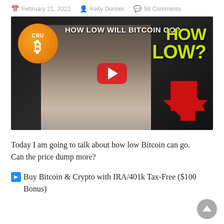February 21, 2022  Kelly Donner  58 Comments
[Figure (screenshot): YouTube video thumbnail showing a man with an expression of disbelief, a Bitcoin logo in the top-left, text 'HOW LOW WILL BITCOIN GO?' and 'HOW LOW?' in yellow-green, a red downward arrow, and a red YouTube play button in the center.]
Today I am going to talk about how low Bitcoin can go. Can the price dump more?
➡Buy Bitcoin & Crypto with IRA/401k Tax-Free ($100 Bonus)